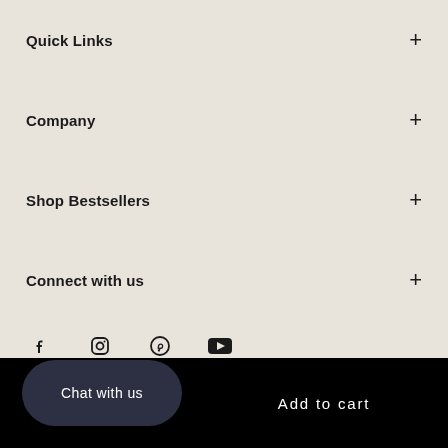Quick Links +
Company +
Shop Bestsellers +
Connect with us +
[Figure (infographic): Social media icons: Facebook, Instagram, Pinterest, YouTube]
Chat with us
Add to cart